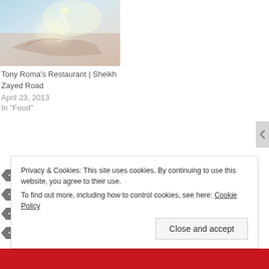[Figure (photo): Soft-toned photo of boats or architectural shapes with light haze and warm tones, possibly taken near water.]
Tony Roma's Restaurant | Sheikh Zayed Road
April 23, 2013
In "Food"
ASIAN FOOD IN DUBAI
DUBAI
FOOD
JAPANESE
JAPANESE FOOD
KARAMA
PHOTOGRAPHY
REGENT PALACE HOTEL
TEPPANYAKI
TEPPANYAKI IN DUBAI
TRAVEL
UAE
Privacy & Cookies: This site uses cookies. By continuing to use this website, you agree to their use.
To find out more, including how to control cookies, see here: Cookie Policy
Close and accept